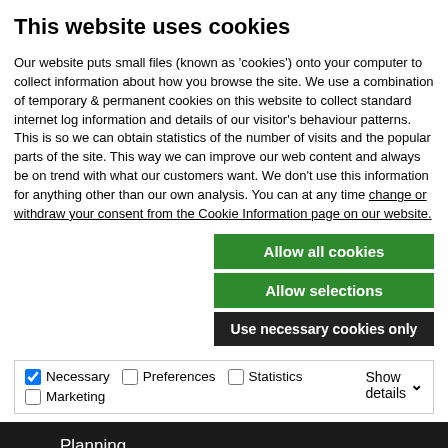This website uses cookies
Our website puts small files (known as 'cookies') onto your computer to collect information about how you browse the site. We use a combination of temporary & permanent cookies on this website to collect standard internet log information and details of our visitor's behaviour patterns. This is so we can obtain statistics of the number of visits and the popular parts of the site. This way we can improve our web content and always be on trend with what our customers want. We don't use this information for anything other than our own analysis. You can at any time change or withdraw your consent from the Cookie Information page on our website.
Allow all cookies
Allow selections
Use necessary cookies only
Necessary  Preferences  Statistics  Marketing  Show details
Planning
Roads
ACCESSIBILITY
Traffic